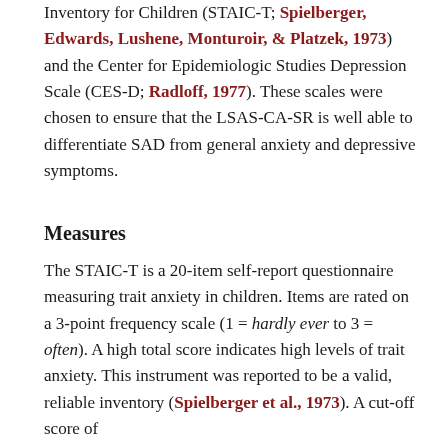Inventory for Children (STAIC-T; Spielberger, Edwards, Lushene, Monturoir, & Platzek, 1973) and the Center for Epidemiologic Studies Depression Scale (CES-D; Radloff, 1977). These scales were chosen to ensure that the LSAS-CA-SR is well able to differentiate SAD from general anxiety and depressive symptoms.
Measures
The STAIC-T is a 20-item self-report questionnaire measuring trait anxiety in children. Items are rated on a 3-point frequency scale (1 = hardly ever to 3 = often). A high total score indicates high levels of trait anxiety. This instrument was reported to be a valid, reliable inventory (Spielberger et al., 1973). A cut-off score of